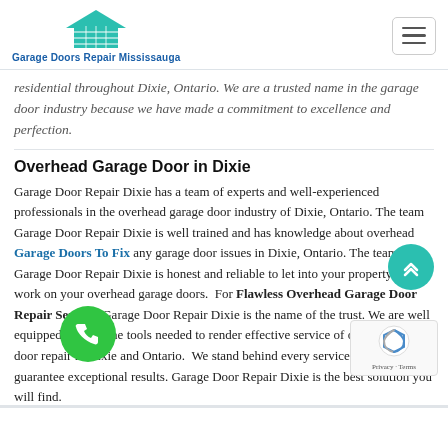Garage Doors Repair Mississauga
residential throughout Dixie, Ontario. We are a trusted name in the garage door industry because we have made a commitment to excellence and perfection.
Overhead Garage Door in Dixie
Garage Door Repair Dixie has a team of experts and well-experienced professionals in the overhead garage door industry of Dixie, Ontario. The team Garage Door Repair Dixie is well trained and has knowledge about overhead Garage Doors To Fix any garage door issues in Dixie, Ontario. The team Garage Door Repair Dixie is honest and reliable to let into your property to work on your overhead garage doors. For Flawless Overhead Garage Door Repair Service, Garage Door Repair Dixie is the name of the trust. We are well equipped with all the tools needed to render effective service of overhead garage door repair in Dixie and Ontario. We stand behind every service we offer and guarantee exceptional results. Garage Door Repair Dixie is the best solution you will find.